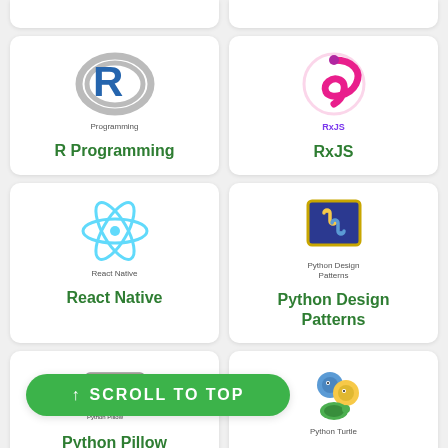[Figure (screenshot): Website listing of programming tutorial cards with logos and titles]
R Programming
RxJS
React Native
Python Design Patterns
Python Pillow
Python Turtle
↑ SCROLL TO TOP